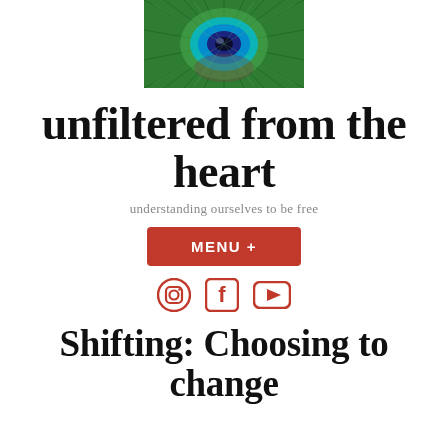[Figure (photo): Close-up photograph of a peacock feather showing vibrant blue, green, and teal eye pattern with radiating green barbs]
unfiltered from the heart
understanding ourselves to be free
MENU +
[Figure (other): Social media icons: Instagram circle icon, Facebook letter F icon, YouTube play button icon, all in red color]
Shifting: Choosing to change